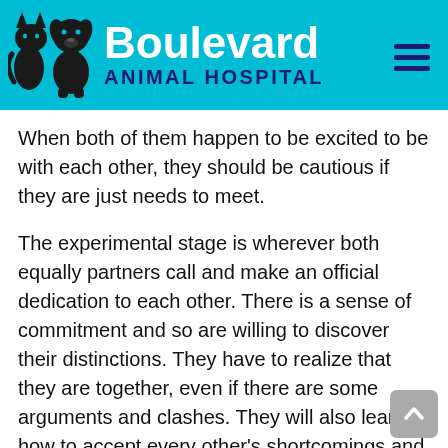Boulevard Animal Hospital
When both of them happen to be excited to be with each other, they should be cautious if they are just needs to meet.
The experimental stage is wherever both equally partners call and make an official dedication to each other. There is a sense of commitment and so are willing to discover their distinctions. They have to realize that they are together, even if there are some arguments and clashes. They will also learn how to accept every other’s shortcomings and function with the problems in order to build a better relationship. This is the first scenario for relationship. There are many other phases.